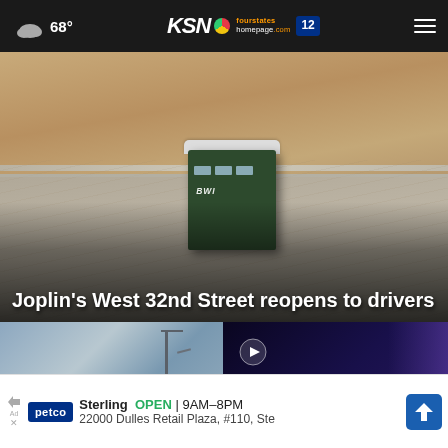68° KSN fourstates homepage.com 12
[Figure (photo): Aerial or elevated view of a construction site road with a portable toilet (BWI brand) in the foreground, sandy/dirt road surface visible]
Joplin's West 32nd Street reopens to drivers
[Figure (photo): Left thumbnail: Street scene with utility pole and blue sky]
[Figure (photo): Right thumbnail: Dark video player with play button and close (X) button, nighttime scene]
Sterling  OPEN | 9AM–8PM  22000 Dulles Retail Plaza, #110, Ste